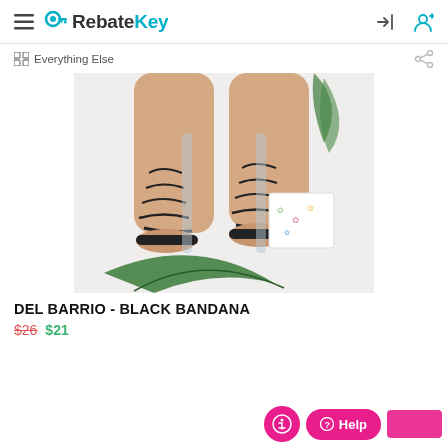RebateKey
Everything Else
[Figure (photo): Photo of black lace-up gladiator sandals worn on a model's legs, with tropical plant leaves and a decorative box in the background]
DEL BARRIO - BLACK BANDANA
$26 $21